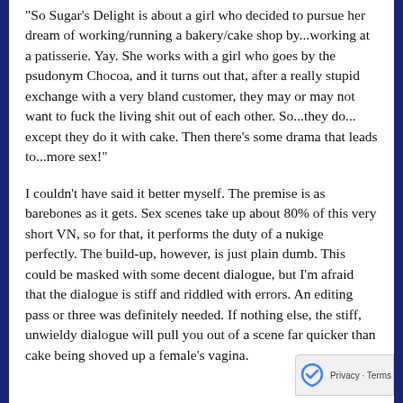"So Sugar's Delight is about a girl who decided to pursue her dream of working/running a bakery/cake shop by...working at a patisserie. Yay. She works with a girl who goes by the psudonym Chocoa, and it turns out that, after a really stupid exchange with a very bland customer, they may or may not want to fuck the living shit out of each other. So...they do... except they do it with cake. Then there's some drama that leads to...more sex!"
I couldn't have said it better myself. The premise is as barebones as it gets. Sex scenes take up about 80% of this very short VN, so for that, it performs the duty of a nukige perfectly. The build-up, however, is just plain dumb. This could be masked with some decent dialogue, but I'm afraid that the dialogue is stiff and riddled with errors. An editing pass or three was definitely needed. If nothing else, the stiff, unwieldy dialogue will pull you out of a scene far quicker than cake being shoved up a female's vagina.